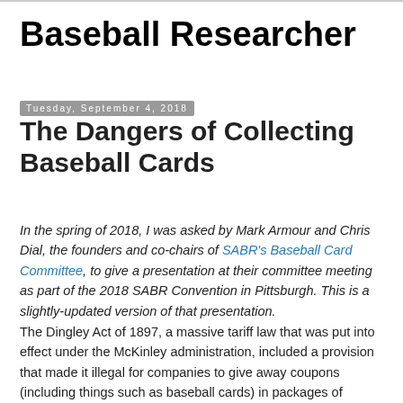Baseball Researcher
Tuesday, September 4, 2018
The Dangers of Collecting Baseball Cards
In the spring of 2018, I was asked by Mark Armour and Chris Dial, the founders and co-chairs of SABR's Baseball Card Committee, to give a presentation at their committee meeting as part of the 2018 SABR Convention in Pittsburgh. This is a slightly-updated version of that presentation.
The Dingley Act of 1897, a massive tariff law that was put into effect under the McKinley administration, included a provision that made it illegal for companies to give away coupons (including things such as baseball cards) in packages of tobacco. The exact legalese reads: